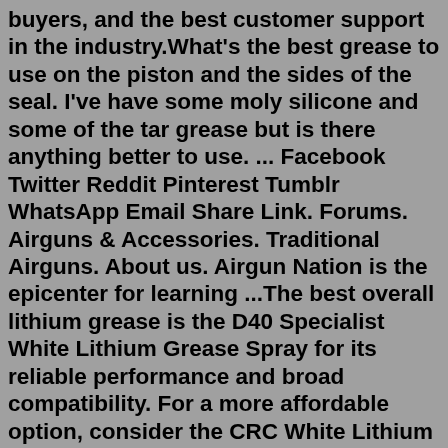buyers, and the best customer support in the industry.What's the best grease to use on the piston and the sides of the seal. I've have some moly silicone and some of the tar grease but is there anything better to use. ... Facebook Twitter Reddit Pinterest Tumblr WhatsApp Email Share Link. Forums. Airguns & Accessories. Traditional Airguns. About us. Airgun Nation is the epicenter for learning ...The best overall lithium grease is the D40 Specialist White Lithium Grease Spray for its reliable performance and broad compatibility. For a more affordable option, consider the CRC White Lithium ...hide. report. 100% Upvoted. Sort by: best. level 1. · 5 yr. ago. that is a decent grease gun for automotive and light truck applications. there are also battery powered and air powered versions available.. if your coupler is worn out.. its easily replaced. Apr 05, 2022 · The best overall is the DEWALT DCGG571M1 Cordless Grease gun. The best pistol grease gun is the Lumax-1152 Manual Grease Gun. The best heavy-duty grease gun is the Lincoln 1134 Grease Gun. All of these guns